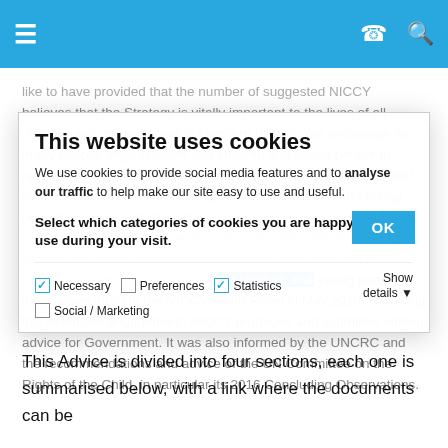Navigation bar with menu, phone, and search icons
believes that the Strategy is vitally important to the lives of all children and young people in Northern Ireland. We encourage as many people, organisations and children and young people to respond to the consultation. It is vital that the Strategy is informed by the voices of everyone with an interest in children and young people's issues, including children and young people themselves. NICCY held a number of workshops and conducted an e-survey to capture the views of key stakeholders who work with and for children and young people and with children and young people themselves through the NICCY Youth Panel in May 2016. Following this extensive engagement, NICCY produced and submitted written advice for Government. It was also informed by the UNCRC and the recommendations and advice of the UN Committee on the Rights of the Child, in particular its 2016 Concluding Observations.
[Figure (screenshot): Cookie consent modal overlay with title 'This website uses cookies', description text, category checkboxes (Necessary checked, Preferences unchecked, Statistics checked, Social/Marketing unchecked), Show details link, and OK button]
This Advice is divided into four sections, each one is summarised below, with a link where the documents can be